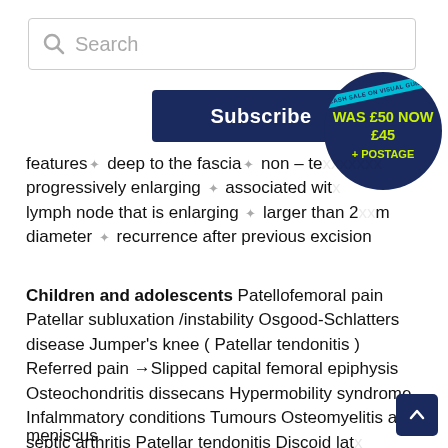Search
Subscribe
FLASH SALE ON VISUAL GUIDEBOOK WAS £50 NOW £45 + POSTAGE
features ✦ deep to the fascia ✦ non – te... progressively enlarging ✦ associated with lymph node that is enlarging ✦ larger than 2cm in diameter ✦ recurrence after previous excision
Children and adolescents Patellofemoral pain Patellar subluxation /instability Osgood-Schlatters disease Jumper's knee ( Patellar tendonitis ) Referred pain → Slipped capital femoral epiphysis Osteochondritis dissecans Hypermobility syndrome Infalmmatory conditions Tumours Osteomyelitis and septic arthritis Patellar tendonitis Discoid lat meniscus